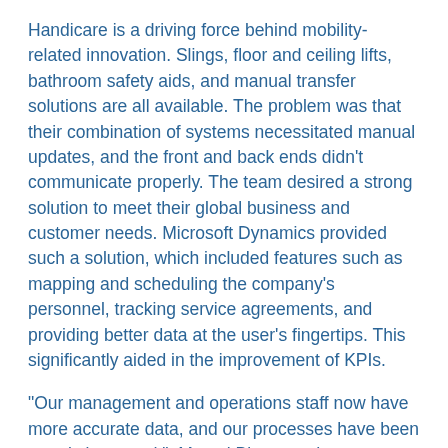Handicare is a driving force behind mobility-related innovation. Slings, floor and ceiling lifts, bathroom safety aids, and manual transfer solutions are all available. The problem was that their combination of systems necessitated manual updates, and the front and back ends didn't communicate properly. The team desired a strong solution to meet their global business and customer needs. Microsoft Dynamics provided such a solution, which included features such as mapping and scheduling the company's personnel, tracking service agreements, and providing better data at the user's fingertips. This significantly aided in the improvement of KPIs.
"Our management and operations staff now have more accurate data, and our processes have been greatly improved."–Marcel Bloemraad, Handicare's marketing and communication manager.
Increasing Leads Using a